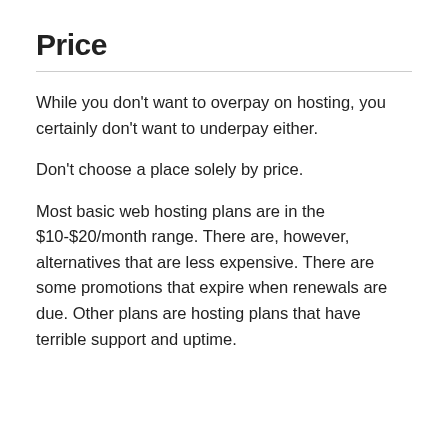Price
While you don't want to overpay on hosting, you certainly don't want to underpay either.
Don't choose a place solely by price.
Most basic web hosting plans are in the $10-$20/month range. There are, however, alternatives that are less expensive. There are some promotions that expire when renewals are due. Other plans are hosting plans that have terrible support and uptime.